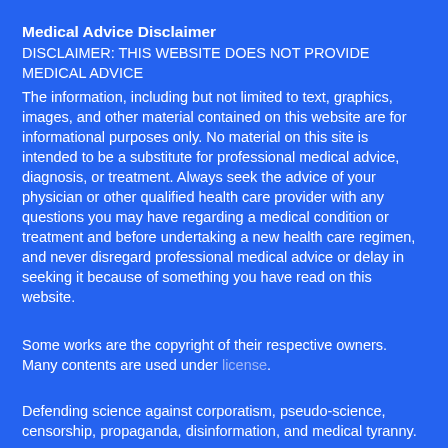Medical Advice Disclaimer
DISCLAIMER: THIS WEBSITE DOES NOT PROVIDE MEDICAL ADVICE
The information, including but not limited to text, graphics, images, and other material contained on this website are for informational purposes only. No material on this site is intended to be a substitute for professional medical advice, diagnosis, or treatment. Always seek the advice of your physician or other qualified health care provider with any questions you may have regarding a medical condition or treatment and before undertaking a new health care regimen, and never disregard professional medical advice or delay in seeking it because of something you have read on this website.
Some works are the copyright of their respective owners. Many contents are used under license.
Defending science against corporatism, pseudo-science, censorship, propaganda, disinformation, and medical tyranny.